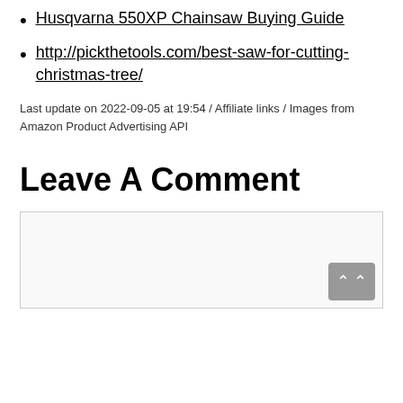Husqvarna 550XP Chainsaw Buying Guide
http://pickthetools.com/best-saw-for-cutting-christmas-tree/
Last update on 2022-09-05 at 19:54 / Affiliate links / Images from Amazon Product Advertising API
Leave A Comment